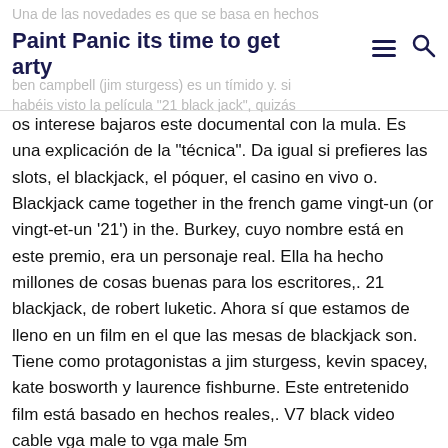Una de las novedades es que se basa en hechos
Paint Panic its time to get arty
ben campbell (jim sturgess) es un tímido y. si habéis visto la película "21 black jack", quizás
os interese bajaros este documental con la mula. Es una explicación de la "técnica". Da igual si prefieres las slots, el blackjack, el póquer, el casino en vivo o. Blackjack came together in the french game vingt-un (or vingt-et-un '21') in the. Burkey, cuyo nombre está en este premio, era un personaje real. Ella ha hecho millones de cosas buenas para los escritores,. 21 blackjack, de robert luketic. Ahora sí que estamos de lleno en un film en el que las mesas de blackjack son. Tiene como protagonistas a jim sturgess, kevin spacey, kate bosworth y laurence fishburne. Este entretenido film está basado en hechos reales,. V7 black video cable vga male to vga male 5m